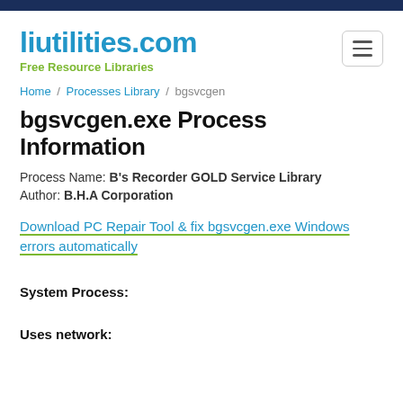liutilities.com — Free Resource Libraries
Home / Processes Library / bgsvcgen
bgsvcgen.exe Process Information
Process Name: B's Recorder GOLD Service Library
Author: B.H.A Corporation
Download PC Repair Tool & fix bgsvcgen.exe Windows errors automatically
System Process:
Uses network: